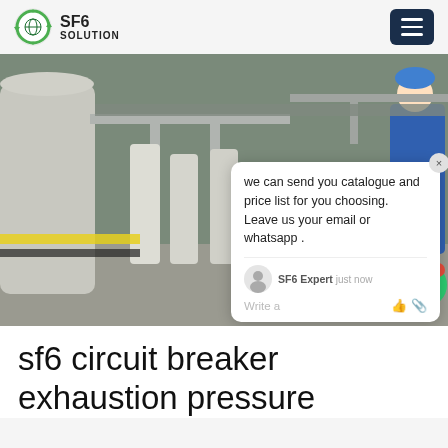SF6 SOLUTION
[Figure (photo): Workers in blue coveralls and hard hats servicing SF6 gas equipment in an industrial facility. One worker crouches working on equipment while another stands. A chat popup overlay reads: 'we can send you catalogue and price list for you choosing. Leave us your email or whatsapp.' with SF6 Expert, just now. A watermark reads SF6China.]
sf6 circuit breaker exhaustion pressure